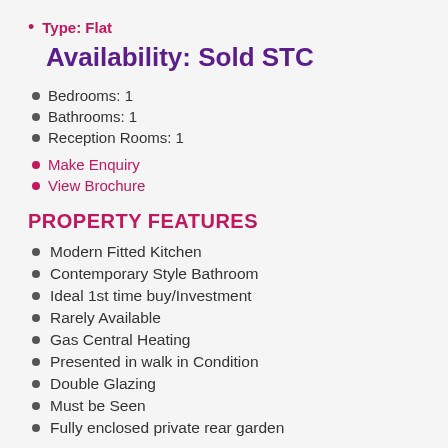Type: Flat
Availability: Sold STC
Bedrooms: 1
Bathrooms: 1
Reception Rooms: 1
Make Enquiry
View Brochure
PROPERTY FEATURES
Modern Fitted Kitchen
Contemporary Style Bathroom
Ideal 1st time buy/Investment
Rarely Available
Gas Central Heating
Presented in walk in Condition
Double Glazing
Must be Seen
Fully enclosed private rear garden